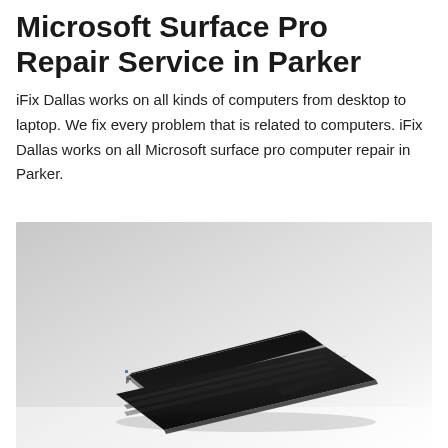Microsoft Surface Pro Repair Service in Parker
iFix Dallas works on all kinds of computers from desktop to laptop. We fix every problem that is related to computers. iFix Dallas works on all Microsoft surface pro computer repair in Parker.
[Figure (photo): Photo of a Microsoft Surface Pro laptop/tablet device with kickstand open and keyboard attached, shown from a side-front angle on a white surface with light grey gradient background]